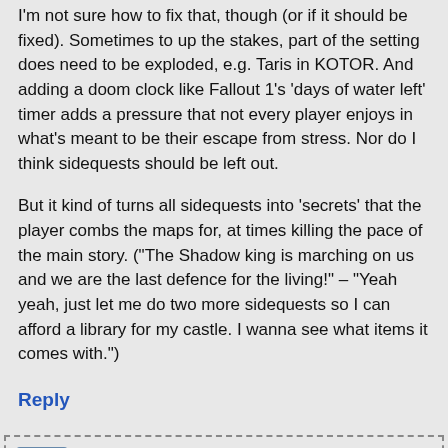I'm not sure how to fix that, though (or if it should be fixed). Sometimes to up the stakes, part of the setting does need to be exploded, e.g. Taris in KOTOR. And adding a doom clock like Fallout 1's 'days of water left' timer adds a pressure that not every player enjoys in what's meant to be their escape from stress. Nor do I think sidequests should be left out.
But it kind of turns all sidequests into 'secrets' that the player combs the maps for, at times killing the pace of the main story. ("The Shadow king is marching on us and we are the last defence for the living!" – "Yeah yeah, just let me do two more sidequests so I can afford a library for my castle. I wanna see what items it comes with.")
Reply
etheric42 says: Wednesday Nov 1, 2017 at 3:42 pm